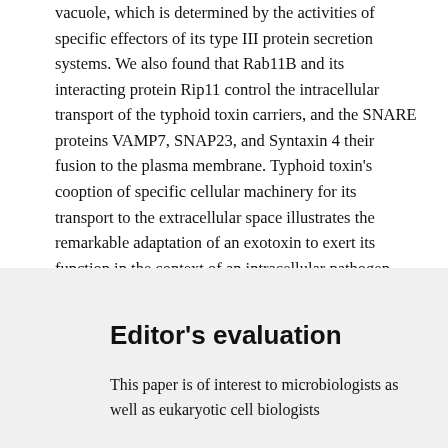vacuole, which is determined by the activities of specific effectors of its type III protein secretion systems. We also found that Rab11B and its interacting protein Rip11 control the intracellular transport of the typhoid toxin carriers, and the SNARE proteins VAMP7, SNAP23, and Syntaxin 4 their fusion to the plasma membrane. Typhoid toxin's cooption of specific cellular machinery for its transport to the extracellular space illustrates the remarkable adaptation of an exotoxin to exert its function in the context of an intracellular pathogen.
Editor's evaluation
This paper is of interest to microbiologists as well as eukaryotic cell biologists